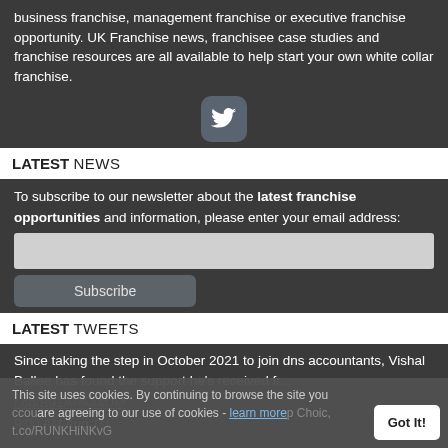business franchise, management franchise or executive franchise opportunity. UK Franchise news, franchisee case studies and franchise resources are all available to help start your own white collar franchise.
[Figure (logo): Twitter bird icon in a rounded square button]
LATEST NEWS
To subscribe to our newsletter about the latest franchise opportunities and information, please enter your email address:
LATEST TWEETS
Since taking the step in October 2021 to join dns accountants, Vishal Ballee has found the support he's received fr... t.co/B91APAa4UM 9:00 AM Aug 1st
This site uses cookies. By continuing to browse the site you are agreeing to our use of cookies - learn more